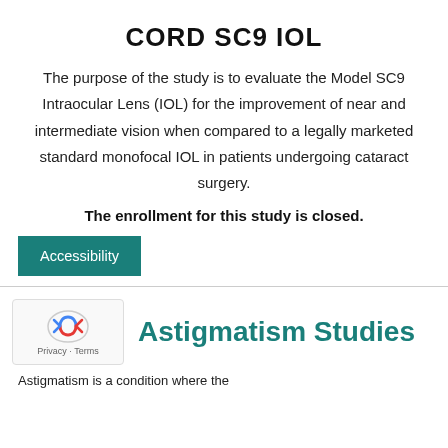CORD SC9 IOL
The purpose of the study is to evaluate the Model SC9 Intraocular Lens (IOL) for the improvement of near and intermediate vision when compared to a legally marketed standard monofocal IOL in patients undergoing cataract surgery.
The enrollment for this study is closed.
Accessibility
Astigmatism Studies
Astigmatism is a condition where the ...